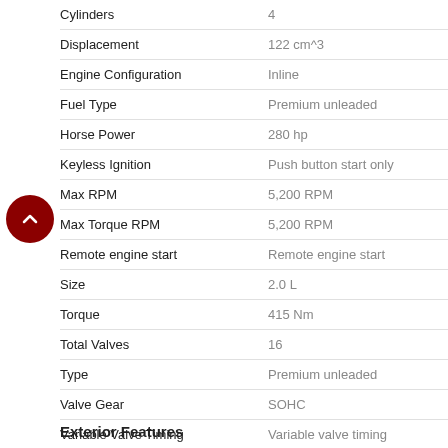| Feature | Value |
| --- | --- |
| Cylinders | 4 |
| Displacement | 122 cm^3 |
| Engine Configuration | Inline |
| Fuel Type | Premium unleaded |
| Horse Power | 280 hp |
| Keyless Ignition | Push button start only |
| Max RPM | 5,200 RPM |
| Max Torque RPM | 5,200 RPM |
| Remote engine start | Remote engine start |
| Size | 2.0 L |
| Torque | 415 Nm |
| Total Valves | 16 |
| Type | Premium unleaded |
| Valve Gear | SOHC |
| Variable Valve Timing | Variable valve timing |
| Vehicle Emissions | LEV3-ULEV125 |
Exterior Features